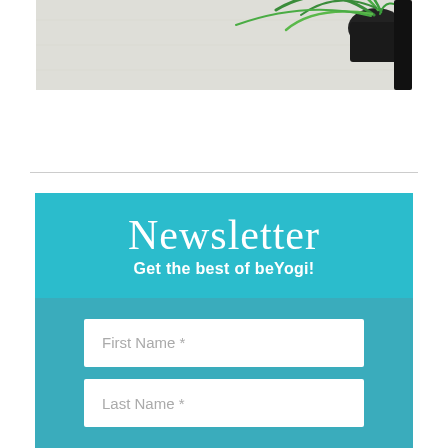[Figure (photo): Top-down photo of a white desk/table with a green potted plant (bamboo-like leaves) visible in the upper right corner and a dark object at the far right edge.]
Newsletter
Get the best of beYogi!
First Name *
Last Name *